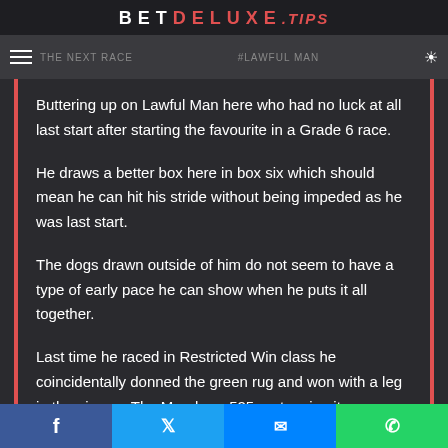BETDELUXE.TIPS
Buttering up on Lawful Man here who had no luck at all last start after starting the favourite in a Grade 6 race.
He draws a better box here in box six which should mean he can hit his stride without being impeded as he was last start.
The dogs drawn outside of him do not seem to have a type of early pace he can show when he puts it all together.
Last time he raced in Restricted Win class he coincidentally donned the green rug and won with a leg in the air over The Meadows 525-metre circuit.